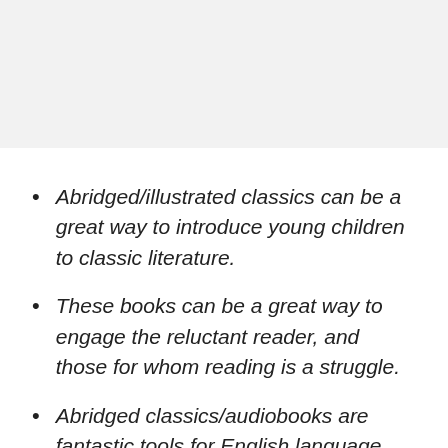Abridged/illustrated classics can be a great way to introduce young children to classic literature.
These books can be a great way to engage the reluctant reader, and those for whom reading is a struggle.
Abridged classics/audiobooks are fantastic tools for English language